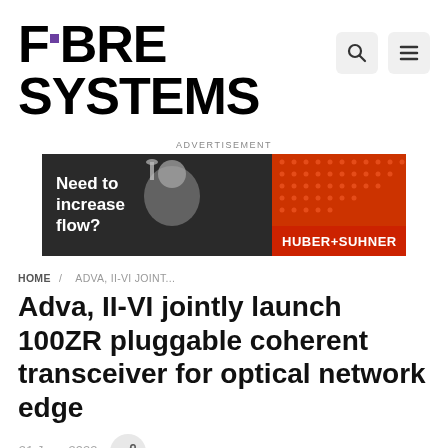FIBRE SYSTEMS
ADVERTISEMENT
[Figure (photo): Advertisement banner for HUBER+SUHNER showing a person in a shower with text 'Need to increase flow?' on left side and orange dotted background on right side with HUBER+SUHNER logo]
HOME / ADVA, II-VI JOINT...
Adva, II-VI jointly launch 100ZR pluggable coherent transceiver for optical network edge
21 June 2022